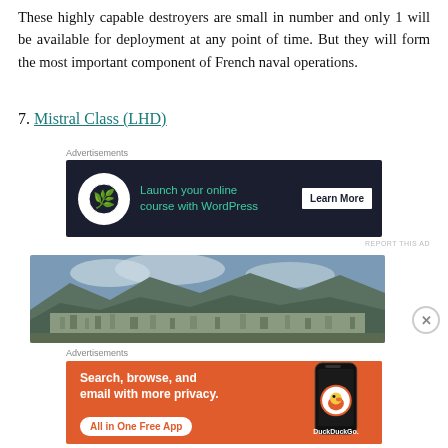These highly capable destroyers are small in number and only 1 will be available for deployment at any point of time. But they will form the most important component of French naval operations.
7. Mistral Class (LHD)
[Figure (infographic): Advertisement banner: Launch your online course with WordPress — Learn More button, dark navy background]
[Figure (photo): Panoramic landscape photo of a coastal city with mountains in the background]
[Figure (infographic): Advertisement banner: DuckDuckGo — Search, browse, and email with more privacy. All in One Free App. Orange background with phone mockup.]